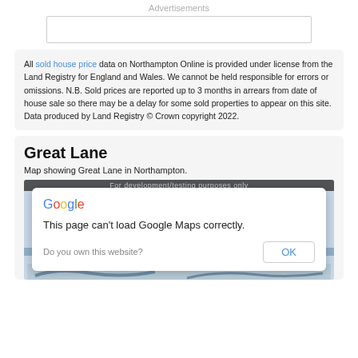Advertisements
[Figure (other): Empty advertisement banner box]
All sold house price data on Northampton Online is provided under license from the Land Registry for England and Wales. We cannot be held responsible for errors or omissions. N.B. Sold prices are reported up to 3 months in arrears from date of house sale so there may be a delay for some sold properties to appear on this site. Data produced by Land Registry © Crown copyright 2022.
Great Lane
Map showing Great Lane in Northampton.
[Figure (map): Google Maps embed showing Great Lane in Northampton, with a dialog overlay: 'This page can't load Google Maps correctly. Do you own this website? OK']